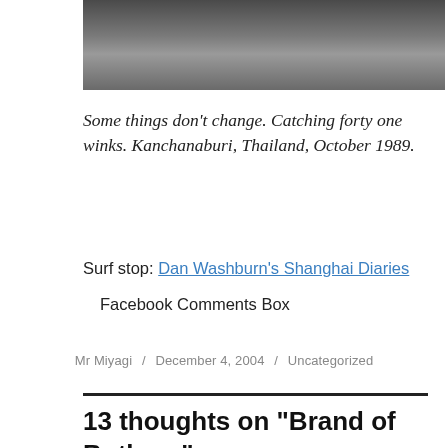[Figure (photo): A photograph showing what appears to be stairs or shelving, taken from above at an angle. The image is partially visible at the top of the page.]
Some things don’t change. Catching forty one winks. Kanchanaburi, Thailand, October 1989.
Surf stop: Dan Washburn’s Shanghai Diaries
Facebook Comments Box
Mr Miyagi / December 4, 2004 / Uncategorized
13 thoughts on “Brand of Bothers”